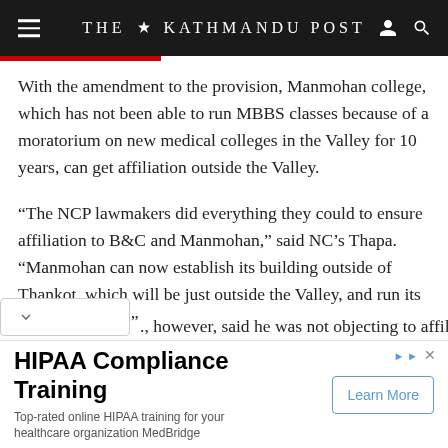THE KATHMANDU POST
With the amendment to the provision, Manmohan college, which has not been able to run MBBS classes because of a moratorium on new medical colleges in the Valley for 10 years, can get affiliation outside the Valley.
“The NCP lawmakers did everything they could to ensure affiliation to B&C and Manmohan,” said NC’s Thapa. “Manmohan can now establish its building outside of Thankot, which will be just outside the Valley, and run its medical classes.”
., however, said he was not objecting to affiliation to these
[Figure (screenshot): Advertisement for HIPAA Compliance Training by MedBridge with a Learn More button]